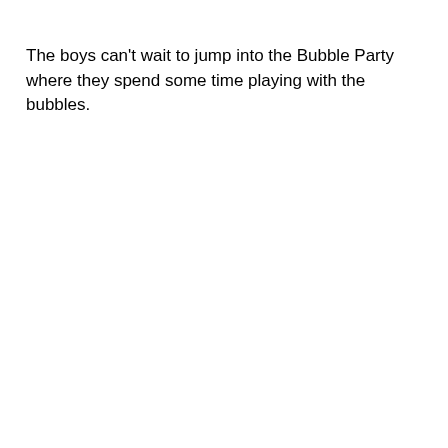The boys can't wait to jump into the Bubble Party where they spend some time playing with the bubbles.